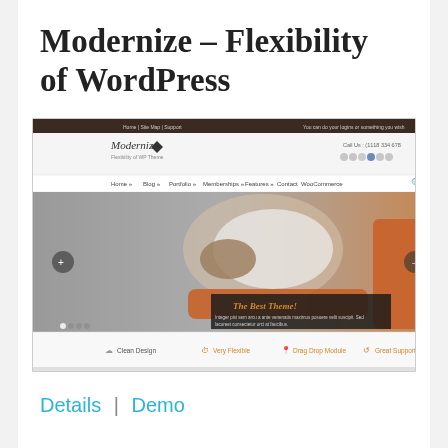Modernize – Flexibility of WordPress
[Figure (screenshot): Screenshot of the Modernize WordPress theme showing a website with a header navigation, a hero image of a woman resting on an orange pillow with the text 'The Best Theme!', and a bottom feature bar with icons for Clean Design, Very Flexible, Drag Drop Module, and Great Support.]
Details | Demo